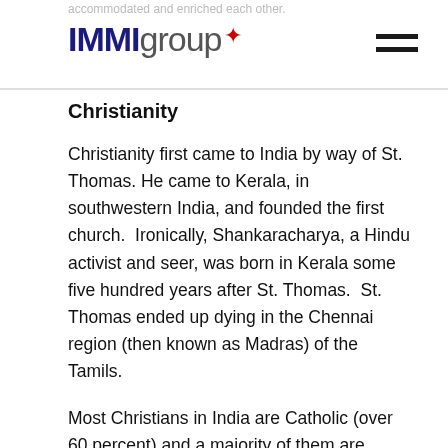accommodated and enriched each other. IMMI group
Christianity
Christianity first came to India by way of St. Thomas. He came to Kerala, in southwestern India, and founded the first church.  Ironically, Shankaracharya, a Hindu activist and seer, was born in Kerala some five hundred years after St. Thomas.  St. Thomas ended up dying in the Chennai region (then known as Madras) of the Tamils.
Most Christians in India are Catholic (over 60 percent) and a majority of them are found in the south, particularly Kerala, Andhra Pradesh and Tamilnadu.  Approximately on third of Kerala’s population is consists of Christians and they are increasingly at the forefront...